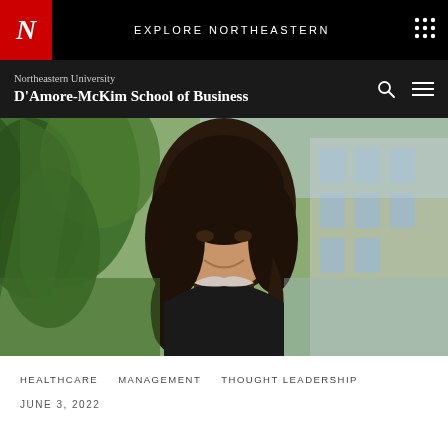EXPLORE NORTHEASTERN
Northeastern University
D'Amore-McKim School of Business
[Figure (photo): Professional headshot of a woman with long dark hair, smiling, wearing a dark blazer with embellished collar, photographed outdoors with greenery and building in background.]
HEALTHCARE   MANAGEMENT   THOUGHT LEADERSHIP
JUNE 3, 2022